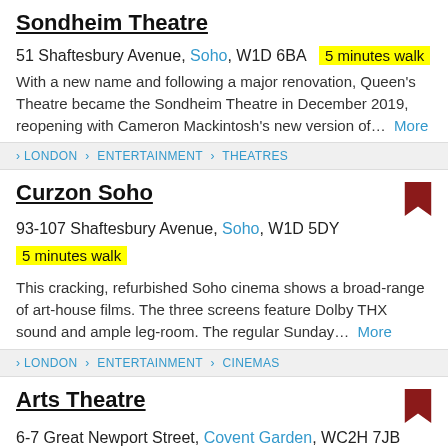Sondheim Theatre
51 Shaftesbury Avenue, Soho, W1D 6BA  5 minutes walk
With a new name and following a major renovation, Queen's Theatre became the Sondheim Theatre in December 2019, reopening with Cameron Mackintosh's new version of...  More
> LONDON > ENTERTAINMENT > THEATRES
Curzon Soho
93-107 Shaftesbury Avenue, Soho, W1D 5DY
5 minutes walk
This cracking, refurbished Soho cinema shows a broad-range of art-house films. The three screens feature Dolby THX sound and ample leg-room. The regular Sunday...  More
> LONDON > ENTERTAINMENT > CINEMAS
Arts Theatre
6-7 Great Newport Street, Covent Garden, WC2H 7JB